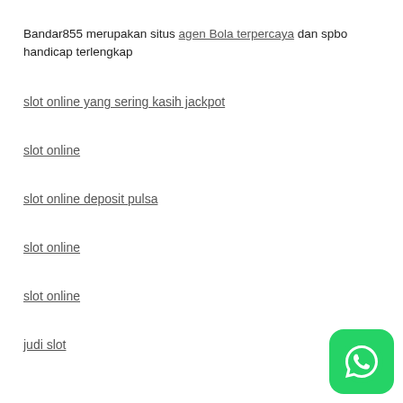Bandar855 merupakan situs agen Bola terpercaya dan spbo handicap terlengkap
slot online yang sering kasih jackpot
slot online
slot online deposit pulsa
slot online
slot online
judi slot
[Figure (logo): WhatsApp green rounded square button icon]